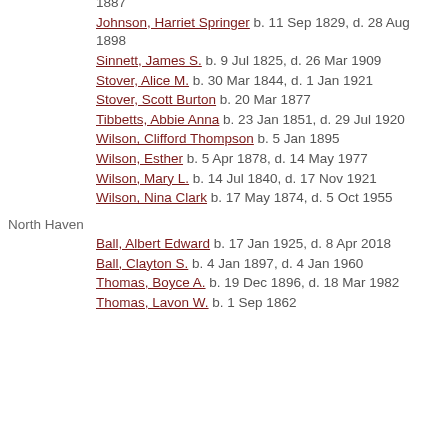1887
Johnson, Harriet Springer  b. 11 Sep 1829, d. 28 Aug 1898
Sinnett, James S.  b. 9 Jul 1825, d. 26 Mar 1909
Stover, Alice M.  b. 30 Mar 1844, d. 1 Jan 1921
Stover, Scott Burton  b. 20 Mar 1877
Tibbetts, Abbie Anna  b. 23 Jan 1851, d. 29 Jul 1920
Wilson, Clifford Thompson  b. 5 Jan 1895
Wilson, Esther  b. 5 Apr 1878, d. 14 May 1977
Wilson, Mary L.  b. 14 Jul 1840, d. 17 Nov 1921
Wilson, Nina Clark  b. 17 May 1874, d. 5 Oct 1955
North Haven
Ball, Albert Edward  b. 17 Jan 1925, d. 8 Apr 2018
Ball, Clayton S.  b. 4 Jan 1897, d. 4 Jan 1960
Thomas, Boyce A.  b. 19 Dec 1896, d. 18 Mar 1982
Thomas, Lavon W.  b. 1 Sep 1862